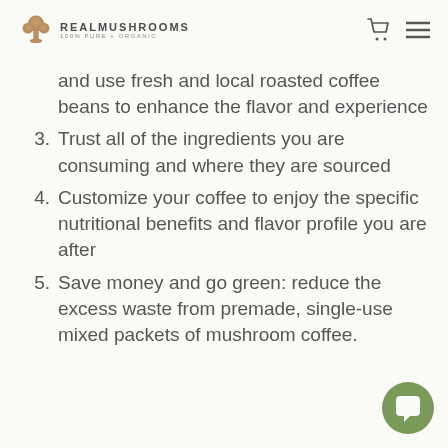REALMUSHROOMS 100% PURE + ORGANIC
and use fresh and local roasted coffee beans to enhance the flavor and experience
3. Trust all of the ingredients you are consuming and where they are sourced
4. Customize your coffee to enjoy the specific nutritional benefits and flavor profile you are after
5. Save money and go green: reduce the excess waste from premade, single-use mixed packets of mushroom coffee.